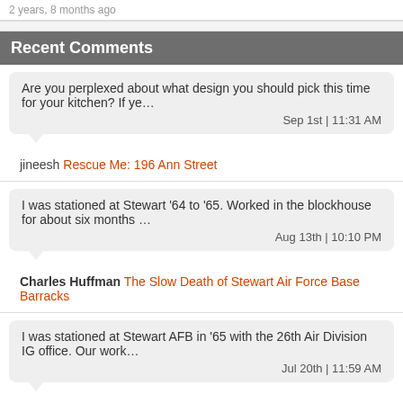2 years, 8 months ago
Recent Comments
Are you perplexed about what design you should pick this time for your kitchen? If ye…
Sep 1st | 11:31 AM
jineesh Rescue Me: 196 Ann Street
I was stationed at Stewart '64 to '65. Worked in the blockhouse for about six months …
Aug 13th | 10:10 PM
Charles Huffman The Slow Death of Stewart Air Force Base Barracks
I was stationed at Stewart AFB in '65 with the 26th Air Division IG office. Our work…
Jul 20th | 11:59 AM
JOHN D. The Slow Death of Stewart Air Force Base Barracks
Before our Mom died in 2009 my brother drove her to Newburgh so she could see her hom…